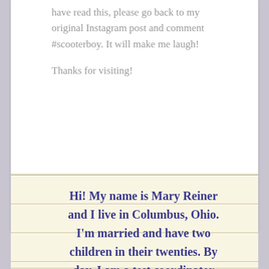have read this, please go back to my original Instagram post and comment #scooterboy. It will make me laugh!

Thanks for visiting!
Hi! My name is Mary Reiner and I live in Columbus, Ohio. I'm married and have two children in their twenties. By day, I am a test coordinator for a local school district,